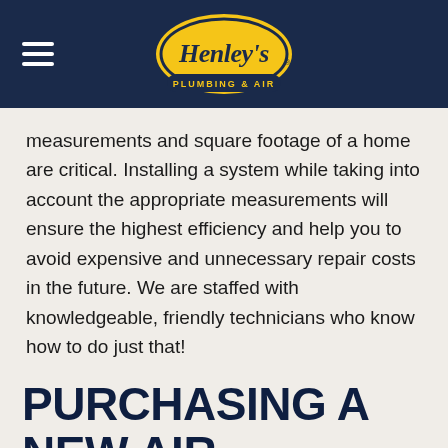Henley's Plumbing & Air
measurements and square footage of a home are critical. Installing a system while taking into account the appropriate measurements will ensure the highest efficiency and help you to avoid expensive and unnecessary repair costs in the future. We are staffed with knowledgeable, friendly technicians who know how to do just that!
PURCHASING A NEW AIR CONDITIONER